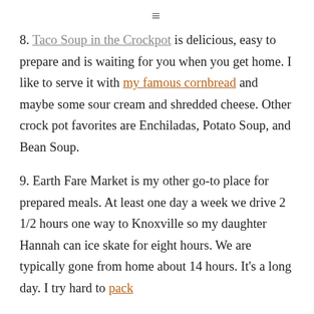≡
8. Taco Soup in the Crockpot is delicious, easy to prepare and is waiting for you when you get home. I like to serve it with my famous cornbread and maybe some sour cream and shredded cheese. Other crock pot favorites are Enchiladas, Potato Soup, and Bean Soup.
9. Earth Fare Market is my other go-to place for prepared meals. At least one day a week we drive 2 1/2 hours one way to Knoxville so my daughter Hannah can ice skate for eight hours. We are typically gone from home about 14 hours. It's a long day. I try hard to pack